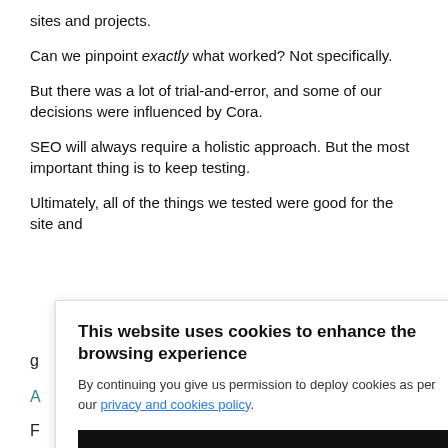sites and projects.
Can we pinpoint exactly what worked? Not specifically.
But there was a lot of trial-and-error, and some of our decisions were influenced by Cora.
SEO will always require a holistic approach. But the most important thing is to keep testing.
Ultimately, all of the things we tested were good for the site and
This website uses cookies to enhance the browsing experience
By continuing you give us permission to deploy cookies as per our privacy and cookies policy.
I UNDERSTAND